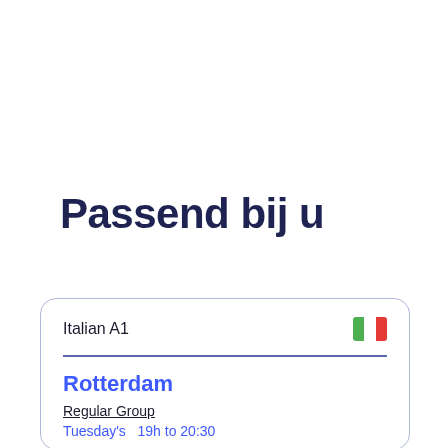Passend bij u
Italian A1
Rotterdam
Regular Group
Tuesday's  19h to 20:30